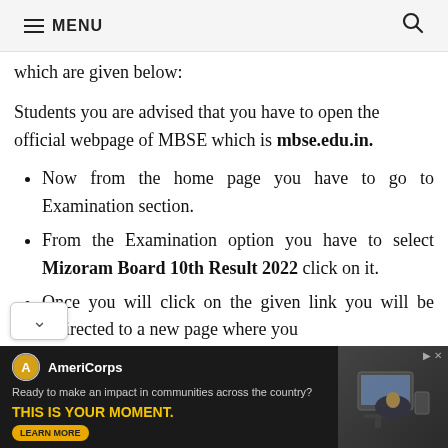≡ MENU 🔍
which are given below:
Students you are advised that you have to open the official webpage of MBSE which is mbse.edu.in.
Now from the home page you have to go to Examination section.
From the Examination option you have to select Mizoram Board 10th Result 2022 click on it.
Once you will click on the given link you will be redirected to a new page where you
[Figure (other): AmeriCorps advertisement banner: 'Ready to make an impact in communities across the country? THIS IS YOUR MOMENT.' with a LEARN MORE button and image of people at computers.]